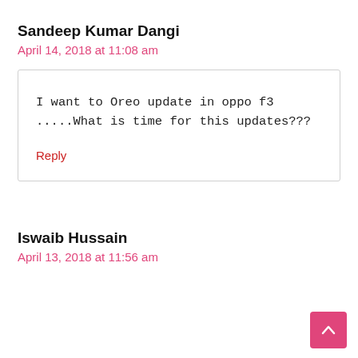Sandeep Kumar Dangi
April 14, 2018 at 11:08 am
I want to Oreo update in oppo f3 .....What is time for this updates???
Reply
Iswaib Hussain
April 13, 2018 at 11:56 am